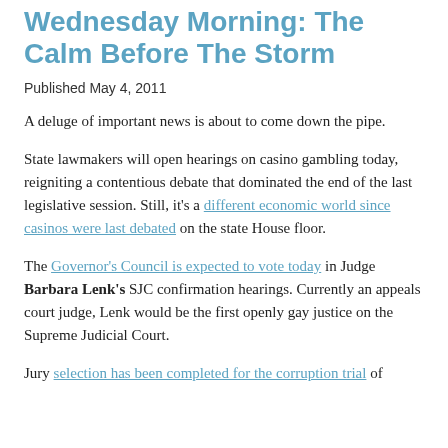Wednesday Morning: The Calm Before The Storm
Published May 4, 2011
A deluge of important news is about to come down the pipe.
State lawmakers will open hearings on casino gambling today, reigniting a contentious debate that dominated the end of the last legislative session. Still, it’s a different economic world since casinos were last debated on the state House floor.
The Governor’s Council is expected to vote today in Judge Barbara Lenk’s SJC confirmation hearings. Currently an appeals court judge, Lenk would be the first openly gay justice on the Supreme Judicial Court.
Jury selection has been completed for the corruption trial of